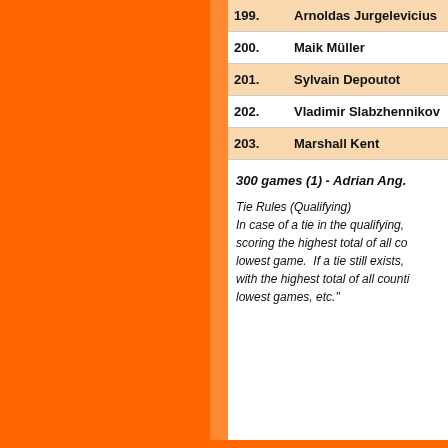| Rank | Name |
| --- | --- |
| 199. | Arnoldas Jurgelevicius |
| 200. | Maik Müller |
| 201. | Sylvain Depoutot |
| 202. | Vladimir Slabzhennikov |
| 203. | Marshall Kent |
300 games (1) - Adrian Ang.
Tie Rules (Qualifying) In case of a tie in the qualifying, scoring the highest total of all co... lowest game. If a tie still exists, with the highest total of all counti... lowest games, etc."